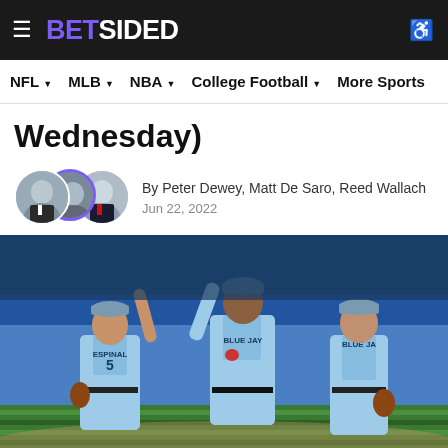BETSIDED
NFL  MLB  NBA  College Football  More Sports
Wednesday)
By Peter Dewey, Matt De Saro, Reed Wallach
Jun 22, 2022
[Figure (photo): Toronto Blue Jays players in light blue uniforms celebrating on the field. Player Espinal #5 high-fiving a teammate, with another player walking behind them on a baseball field.]